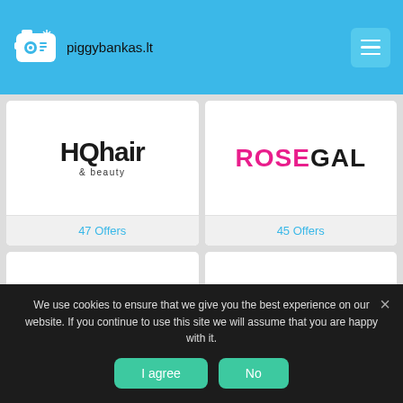piggybankas.lt
[Figure (logo): HQhair & beauty logo — bold large HQhair text with & beauty subtitle]
47 Offers
[Figure (logo): ROSEGAL logo — ROSE in pink, GAL in black]
45 Offers
[Figure (logo): BEAUTY EXPERT logo in serif uppercase spaced letters]
36 Offers
[Figure (logo): REN CLEAN SKINCARE logo]
26 Offers
We use cookies to ensure that we give you the best experience on our website. If you continue to use this site we will assume that you are happy with it.